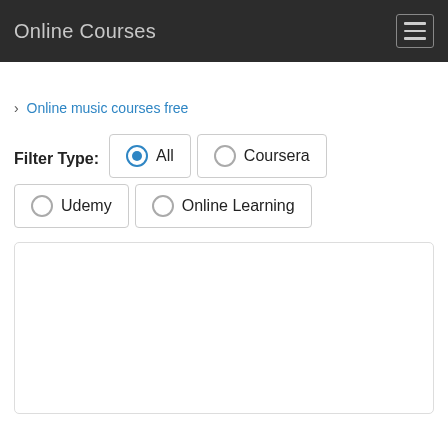Online Courses
› Online music courses free
Filter Type: All  Coursera  Udemy  Online Learning
[Figure (screenshot): Empty white content box with rounded border]